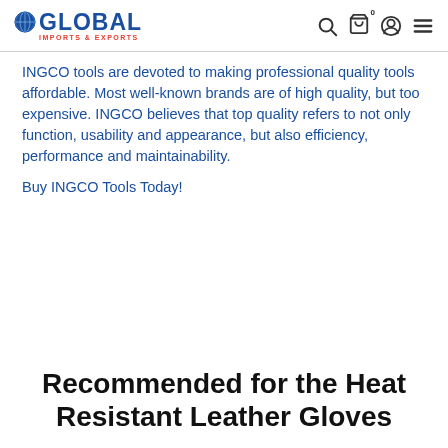GLOBAL IMPORTS & EXPORTS
INGCO tools are devoted to making professional quality tools affordable. Most well-known brands are of high quality, but too expensive. INGCO believes that top quality refers to not only function, usability and appearance, but also efficiency, performance and maintainability.
Buy INGCO Tools Today!
Recommended for the Heat Resistant Leather Gloves